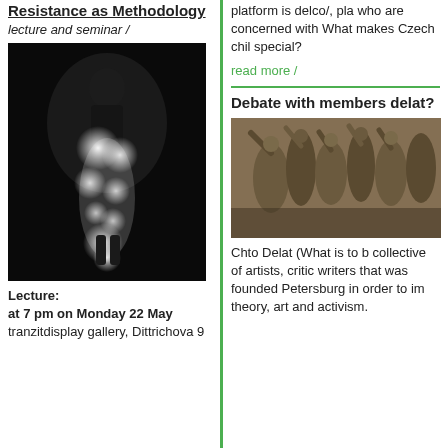Resistance as Methodology
lecture and seminar /
[Figure (photo): Black and white photo of a figure with dramatic light bursts around body, standing on a dark stage]
Lecture:
at 7 pm on Monday 22 May
tranzitdisplay gallery, Dittrichova 9
platform is delco/, pla who are concerned with What makes Czech chil special?
read more /
Debate with members delat?
[Figure (photo): Color photo showing a sculptural relief with multiple human figures in dynamic poses]
Chto Delat (What is to b collective of artists, critic writers that was founded Petersburg in order to im theory, art and activism.